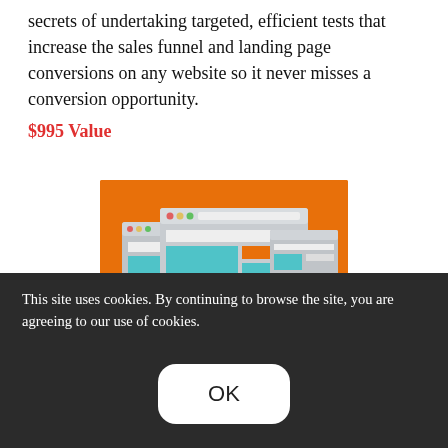secrets of undertaking targeted, efficient tests that increase the sales funnel and landing page conversions on any website so it never misses a conversion opportunity. $995 Value
[Figure (illustration): Orange background illustration showing browser/webpage windows with a magnifying glass containing gear icons, and a teal email icon in the bottom right. Caption reads 'Search Marketing Mastery'.]
This site uses cookies. By continuing to browse the site, you are agreeing to our use of cookies.
Search Marketing